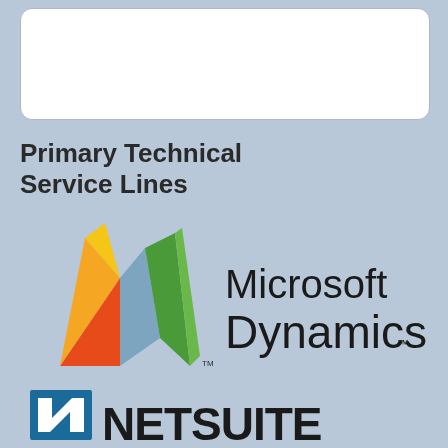[Figure (other): White rounded rectangle box at top of page]
Primary Technical Service Lines
[Figure (logo): Microsoft Dynamics logo with colorful geometric shapes (yellow, blue, green, orange, red triangles/sails) and Microsoft Dynamics wordmark in dark text]
[Figure (logo): NetSuite logo with a teal/blue stylized N icon and NETSUITE wordmark in bold black text]